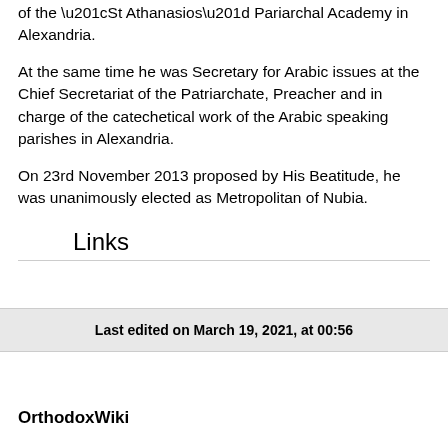of the “St Athanasios” Pariarchal Academy in Alexandria.
At the same time he was Secretary for Arabic issues at the Chief Secretariat of the Patriarchate, Preacher and in charge of the catechetical work of the Arabic speaking parishes in Alexandria.
On 23rd November 2013 proposed by His Beatitude, he was unanimously elected as Metropolitan of Nubia.
Links
Last edited on March 19, 2021, at 00:56
OrthodoxWiki